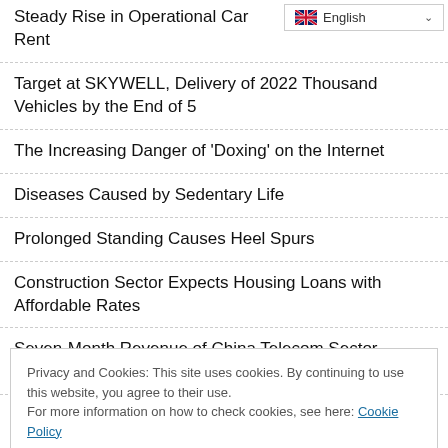Steady Rise in Operational Car Rent
Target at SKYWELL, Delivery of 2022 Thousand Vehicles by the End of 5
The Increasing Danger of 'Doxing' on the Internet
Diseases Caused by Sedentary Life
Prolonged Standing Causes Heel Spurs
Construction Sector Expects Housing Loans with Affordable Rates
Seven-Month Revenue of China Telecom Sector Exceeds $137 Billion
Privacy and Cookies: This site uses cookies. By continuing to use this website, you agree to their use.
For more information on how to check cookies, see here: Cookie Policy